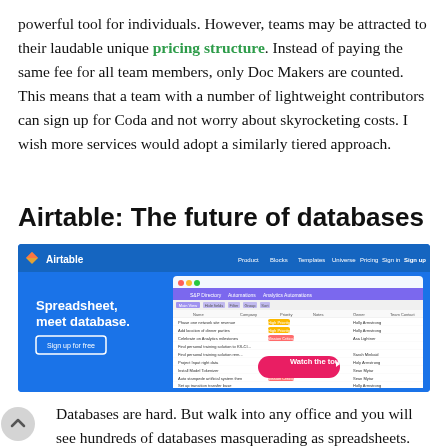powerful tool for individuals. However, teams may be attracted to their laudable unique pricing structure. Instead of paying the same fee for all team members, only Doc Makers are counted. This means that a team with a number of lightweight contributors can sign up for Coda and not worry about skyrocketing costs. I wish more services would adopt a similarly tiered approach.
Airtable: The future of databases
[Figure (screenshot): Airtable website screenshot showing the Airtable homepage with 'Spreadsheet, meet database.' headline, Sign up for free button, and a product UI screenshot showing a spreadsheet/database grid with a 'Watch the tour' button overlay.]
Databases are hard. But walk into any office and you will see hundreds of databases masquerading as spreadsheets. This